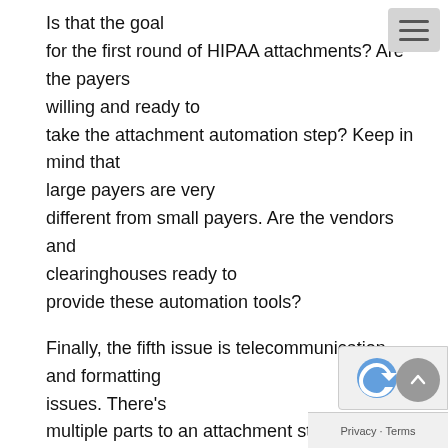Is that the goal for the first round of HIPAA attachments? Are the payers willing and ready to take the attachment automation step? Keep in mind that large payers are very different from small payers. Are the vendors and clearinghouses ready to provide these automation tools?
Finally, the fifth issue is telecommunication and formatting issues. There's multiple parts to an attachment standard. Putting aside the historical reference to the MOU between HL7 and X12, we'll talk about that, the data content could be sent as LOINC codes and that's very, opinion a very good